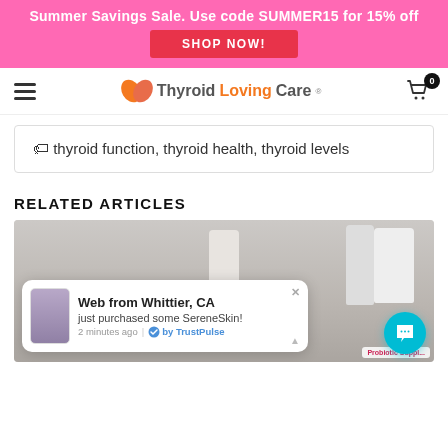Summer Savings Sale. Use code SUMMER15 for 15% off SHOP NOW!
[Figure (logo): Thyroid Loving Care logo with butterfly graphic]
thyroid function, thyroid health, thyroid levels
RELATED ARTICLES
[Figure (photo): Article thumbnail showing supplement bottles on a shelf, with a TrustPulse popup notification: Web from Whittier, CA just purchased some SereneSkin! 2 minutes ago | by TrustPulse]